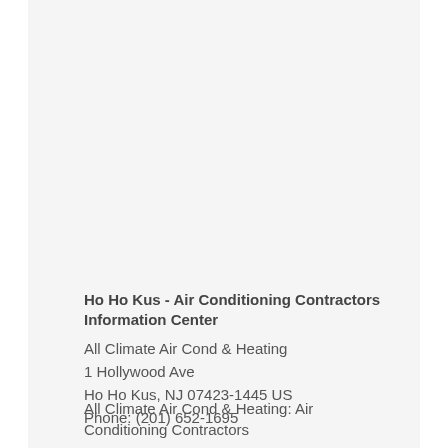Ho Ho Kus - Air Conditioning Contractors Information Center
All Climate Air Cond & Heating
1 Hollywood Ave
Ho Ho Kus, NJ 07423-1445 US
Phone: (201) 652-1695
All Climate Air Cond & Heating: Air Conditioning Contractors